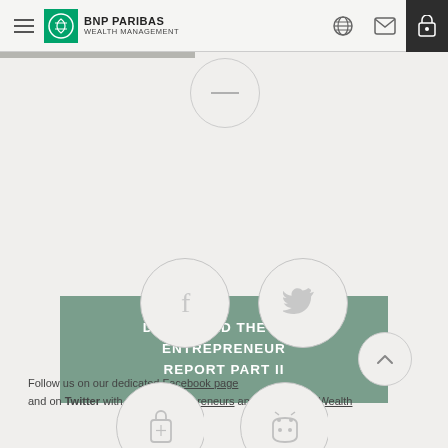BNP PARIBAS WEALTH MANAGEMENT
[Figure (illustration): Partially visible circle icon at top center]
DOWNLOAD THE 2020 ENTREPRENEUR REPORT PART II
[Figure (illustration): Facebook circle icon]
[Figure (illustration): Twitter circle icon]
Follow us on our dedicated Facebook page and on Twitter with #ImpactEntrepreneurs and at @BNPP_Wealth
[Figure (illustration): Back to top arrow circle button]
[Figure (illustration): Partially visible shopping bag circle icon at bottom]
[Figure (illustration): Partially visible Android/robot circle icon at bottom]